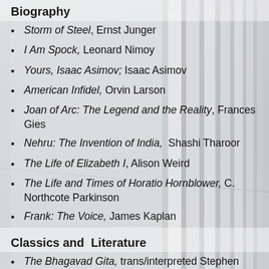Biography
Storm of Steel, Ernst Junger
I Am Spock, Leonard Nimoy
Yours, Isaac Asimov; Isaac Asimov
American Infidel, Orvin Larson
Joan of Arc: The Legend and the Reality, Frances Gies
Nehru: The Invention of India,  Shashi Tharoor
The Life of Elizabeth I, Alison Weird
The Life and Times of Horatio Hornblower, C. Northcote Parkinson
Frank: The Voice, James Kaplan
Classics and  Literature
The Bhagavad Gita, trans/interpreted Stephen